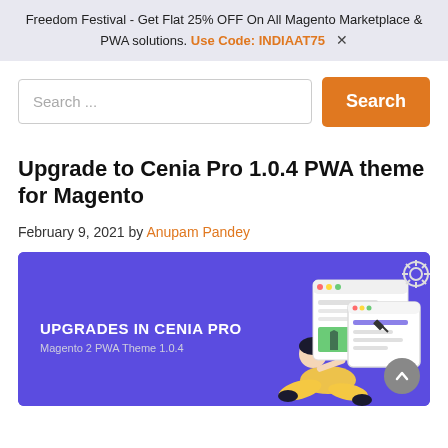Freedom Festival - Get Flat 25% OFF On All Magento Marketplace & PWA solutions. Use Code: INDIAAT75  ✕
Search ...
Upgrade to Cenia Pro 1.0.4 PWA theme for Magento
February 9, 2021 by Anupam Pandey
[Figure (illustration): Purple banner illustration showing 'UPGRADES IN CENIA PRO - Magento 2 PWA Theme 1.0.4' with an illustration of a person sitting cross-legged using a laptop, with browser/app windows floating above]